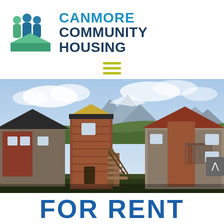[Figure (logo): Canmore Community Housing logo with stylized people/house icon in teal and green, and text 'CANMORE COMMUNITY HOUSING' in blue and dark navy]
[Figure (photo): Exterior photograph of multi-unit residential housing buildings with wood siding in red/brown and grey tones, wooden staircases, balconies, set against a mountain backdrop with cloudy sky]
FOR RENT